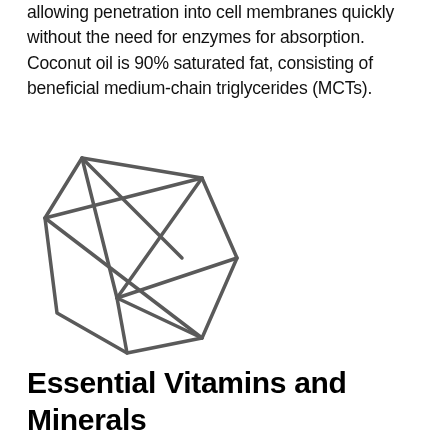allowing penetration into cell membranes quickly without the need for enzymes for absorption. Coconut oil is 90% saturated fat, consisting of beneficial medium-chain triglycerides (MCTs).
[Figure (illustration): A geometric line-art illustration of an irregular polyhedron (diamond/crystal-like shape) drawn with dark gray strokes on white background.]
Essential Vitamins and Minerals